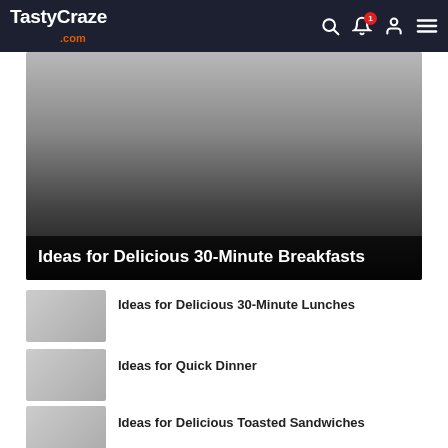TastyCraze.com
[Figure (photo): Hero image with gradient overlay showing 'Ideas for Delicious 30-Minute Breakfasts' title]
Ideas for Delicious 30-Minute Breakfasts
Ideas for Delicious 30-Minute Lunches
Ideas for Quick Dinner
Ideas for Delicious Toasted Sandwiches